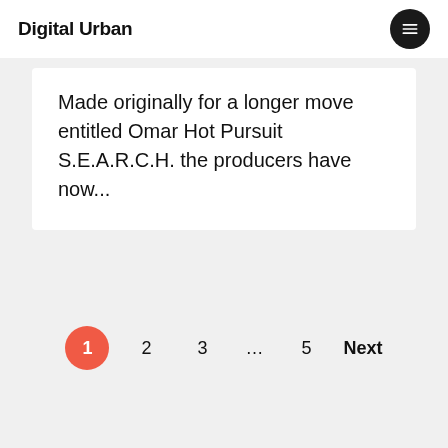Digital Urban
Made originally for a longer move entitled Omar Hot Pursuit S.E.A.R.C.H. the producers have now...
1 2 3 … 5 Next